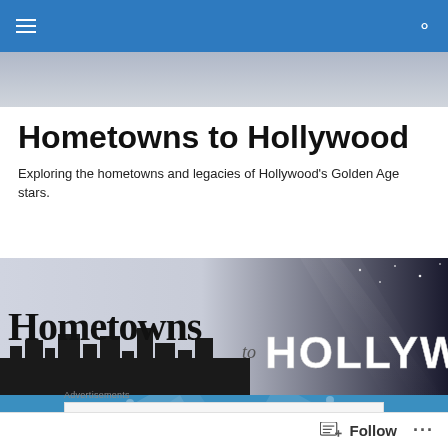Hometowns to Hollywood
Exploring the hometowns and legacies of Hollywood's Golden Age stars.
[Figure (illustration): Hometowns to Hollywood banner image showing city skyline silhouette on left with 'Hometowns' text and the Hollywood sign on right with spotlight beams]
Advertisements
[Figure (screenshot): Advertisement for P2 product: Getting your team on the same page is easy. And free.]
Good News (1947)
Follow